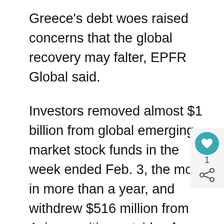Greece's debt woes raised concerns that the global recovery may falter, EPFR Global said.
Investors removed almost $1 billion from global emerging market stock funds in the week ended Feb. 3, the most in more than a year, and withdrew $516 million from Asian equities outside of Japan, the research company said in a statement.
The MSCI Emerging Markets Index fell 2.6 percent to 902.12 as of 5 p.m. in Hong Kong the lowest since Oct. 2. The gauge of 22 developing nations, which rallied a record 75